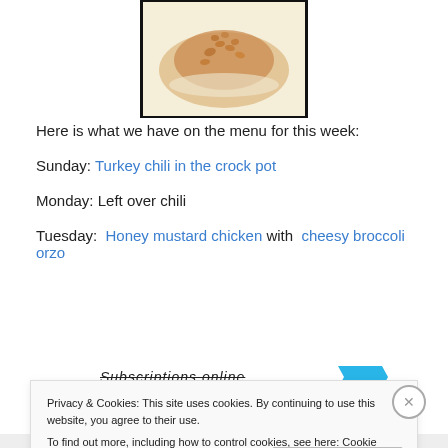[Figure (photo): Food photo showing a dish with rice/grains on a cream/white background, framed in black]
Here is what we have on the menu for this week:
Sunday: Turkey chili in the crock pot
Monday: Left over chili
Tuesday: Honey mustard chicken with cheesy broccoli orzo
Privacy & Cookies: This site uses cookies. By continuing to use this website, you agree to their use. To find out more, including how to control cookies, see here: Cookie Policy
Close and accept